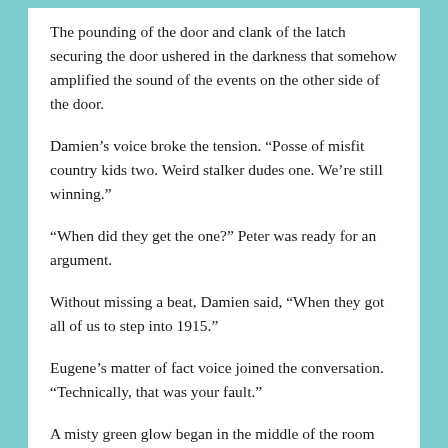The pounding of the door and clank of the latch securing the door ushered in the darkness that somehow amplified the sound of the events on the other side of the door.
Damien's voice broke the tension. “Posse of misfit country kids two. Weird stalker dudes one. We're still winning.”
“When did they get the one?” Peter was ready for an argument.
Without missing a beat, Damien said, “When they got all of us to step into 1915.”
Eugene’s matter of fact voice joined the conversation. “Technically, that was your fault.”
A misty green glow began in the middle of the room and